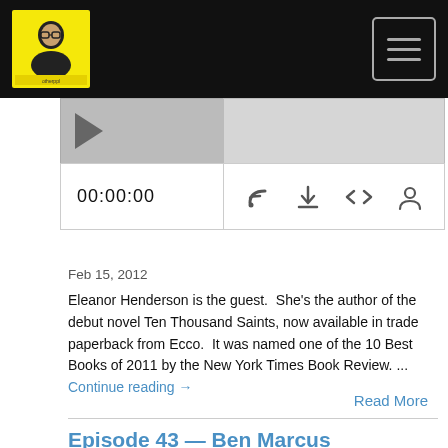otherppl podcast logo and navigation
[Figure (screenshot): Audio player with thumbnail, waveform display, timer showing 00:00:00 and control icons for RSS, download, embed code, and settings]
Feb 15, 2012
Eleanor Henderson is the guest.  She's the author of the debut novel Ten Thousand Saints, now available in trade paperback from Ecco.  It was named one of the 10 Best Books of 2011 by the New York Times Book Review. ... Continue reading →
Read More
Episode 43 — Ben Marcus